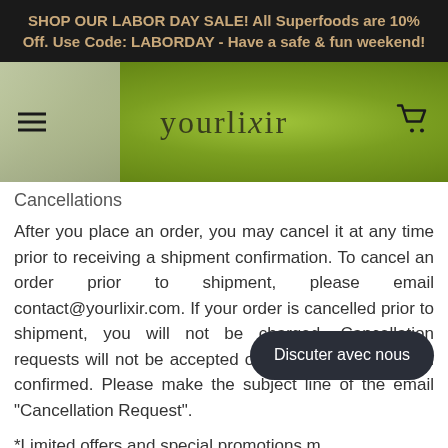SHOP OUR LABOR DAY SALE! All Superfoods are 10% Off. Use Code: LABORDAY - Have a safe & fun weekend!
[Figure (screenshot): Website header with green bubbly background, hamburger menu icon on left, 'yourlixir' logo in center, shopping cart icon on right, white bottle partially visible on left side]
Cancellations
After you place an order, you may cancel it at any time prior to receiving a shipment confirmation. To cancel an order prior to shipment, please email contact@yourlixir.com. If your order is cancelled prior to shipment, you will not be charged. Cancellation requests will not be accepted once shipment has been confirmed. Please make the subject line of the email "Cancellation Request".
*Limited offers and special promotions may have different stipulations. Please see product for details.